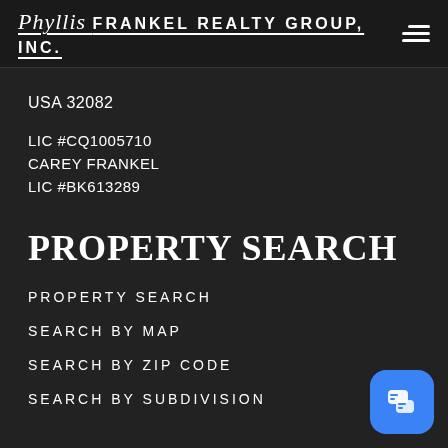Phyllis FRANKEL REALTY GROUP, INC.
USA 32082
LIC #CQ1005710
CAREY FRANKEL
LIC #BK613289
PROPERTY SEARCH
PROPERTY SEARCH
SEARCH BY MAP
SEARCH BY ZIP CODE
SEARCH BY SUBDIVISION